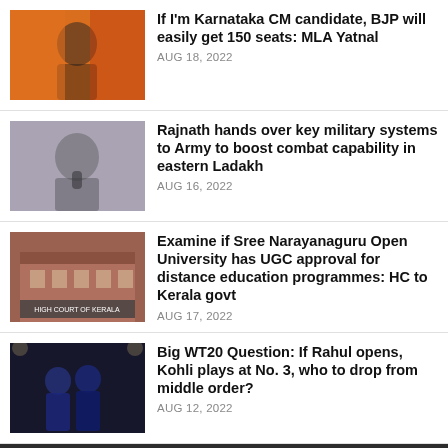If I'm Karnataka CM candidate, BJP will easily get 150 seats: MLA Yatnal
AUG 18, 2022
Rajnath hands over key military systems to Army to boost combat capability in eastern Ladakh
AUG 16, 2022
Examine if Sree Narayanaguru Open University has UGC approval for distance education programmes: HC to Kerala govt
AUG 17, 2022
Big WT20 Question: If Rahul opens, Kohli plays at No. 3, who to drop from middle order?
AUG 12, 2022
Copyright °.
All rights reserved. Created by Readwhere CMS